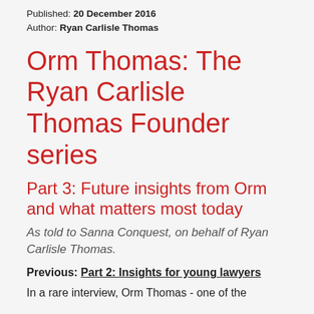Published: 20 December 2016
Author: Ryan Carlisle Thomas
Orm Thomas: The Ryan Carlisle Thomas Founder series
Part 3: Future insights from Orm and what matters most today
As told to Sanna Conquest, on behalf of Ryan Carlisle Thomas.
Previous: Part 2: Insights for young lawyers
In a rare interview, Orm Thomas - one of the